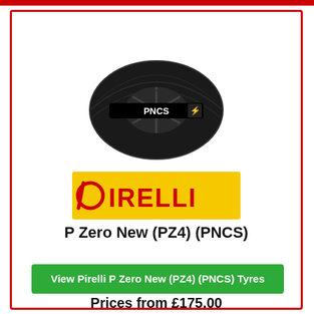[Figure (photo): Pirelli P Zero New (PZ4) (PNCS) tyre product photo, black tyre with PNCS logo band]
[Figure (logo): Pirelli logo on yellow background - red PIRELLI text with P symbol]
P Zero New (PZ4) (PNCS)
View Pirelli P Zero New (PZ4) (PNCS) Tyres
Prices from £175.00